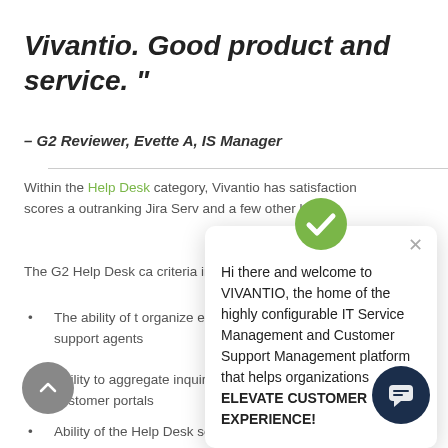Vivantio. Good product and service. "
– G2 Reviewer, Evette A, IS Manager
Within the Help Desk category, Vivantio has satisfaction scores and outranking Jira Service and a few other large...
The G2 Help Desk ca... criteria include the fo...
The ability of t... organize extern... tickets for routing to support agents
Ability to aggregate inquiries from emails and online customer portals
Ability of the Help Desk software to
[Figure (screenshot): Vivantio chat popup widget with logo, close button, and welcome message: Hi there and welcome to VIVANTIO, the home of the highly configurable IT Service Management and Customer Support Management platform that helps organizations ELEVATE CUSTOMER EXPERIENCE!]